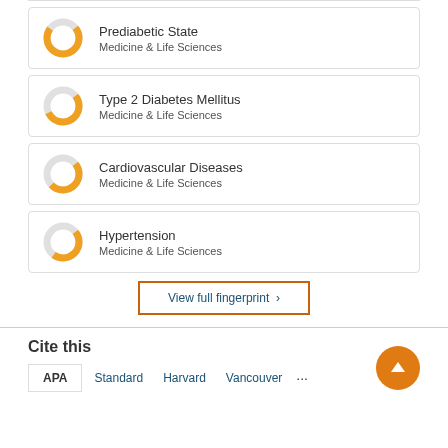Prediabetic State — Medicine & Life Sciences
Type 2 Diabetes Mellitus — Medicine & Life Sciences
Cardiovascular Diseases — Medicine & Life Sciences
Hypertension — Medicine & Life Sciences
View full fingerprint >
Cite this
APA  Standard  Harvard  Vancouver  ...